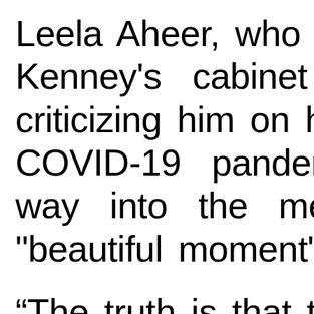Leela Aheer, who was ki… Kenney's cabinet last … criticizing him on his han… COVID-19 pandemic, sa… way into the meeting th… "beautiful moment" for t… “The truth is that the on… ever wanted was to… opportunity to be able t…